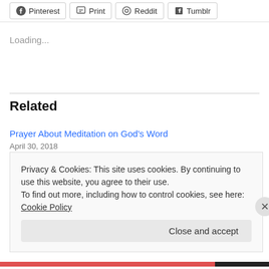Pinterest  Print  Reddit  Tumblr
Loading...
Related
Prayer About Meditation on God’s Word
April 30, 2018
In “Prayers from Psalms”
A Prayer for Focus
Privacy & Cookies: This site uses cookies. By continuing to use this website, you agree to their use.
To find out more, including how to control cookies, see here: Cookie Policy
Close and accept